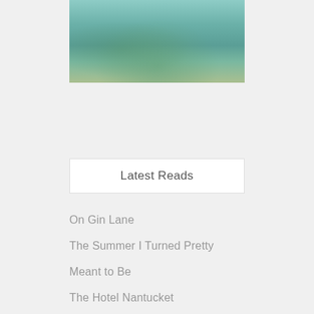[Figure (photo): Aerial or underwater photo of water with aqua/teal tones and some green/brown elements visible beneath the surface]
Latest Reads
On Gin Lane
The Summer I Turned Pretty
Meant to Be
The Hotel Nantucket
The Summer Place
Same Beach, Next Year
The Wish
The Last Thing He Told Me
Christmas in Peachtree Bluff